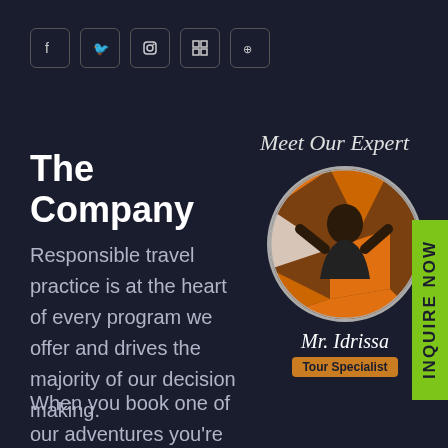[Figure (other): Social media icons row: Facebook, Twitter, Instagram, LinkedIn, TripAdvisor — each in a rounded square border]
The Company
Responsible travel practice is at the heart of every program we offer and drives the majority of our decision making.
When you book one of our adventures you're
[Figure (illustration): Meet Our Expert section with circular portrait of Mr. Idrissa, Tour Specialist, set against a dark background with orange geometric patterns]
INQUIRE NOW